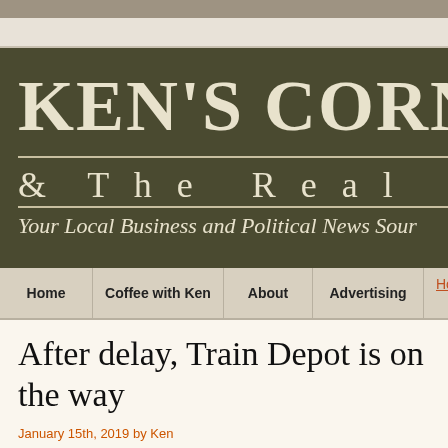KEN'S CORNER & The Real News — Your Local Business and Political News Source
[Figure (screenshot): Website navigation bar with menu items: Home, Coffee with Ken, About, Advertising, and a Home link]
After delay, Train Depot is on the way
January 15th, 2019 by Ken
After more that a year of delay, the Lacey City Council has finally approve